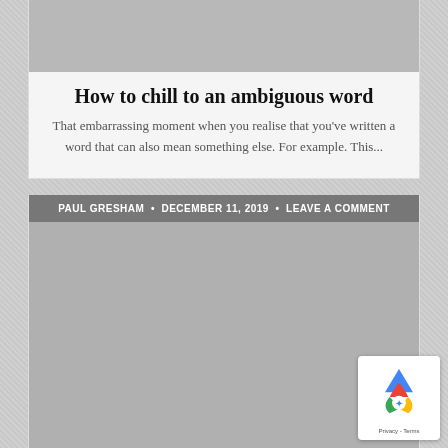[Figure (photo): Gray placeholder image at top of article card]
How to chill to an ambiguous word
That embarrassing moment when you realise that you've written a word that can also mean something else. For example. This...
PAUL GRESHAM • DECEMBER 11, 2019 • LEAVE A COMMENT
[Figure (photo): Large gray placeholder image for second article card]
[Figure (logo): reCAPTCHA badge with Privacy and Terms links]